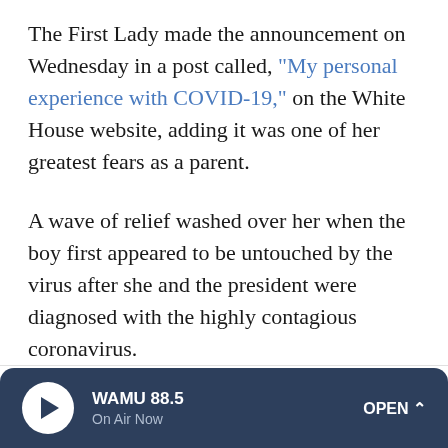The First Lady made the announcement on Wednesday in a post called, "My personal experience with COVID-19," on the White House website, adding it was one of her greatest fears as a parent.
A wave of relief washed over her when the boy first appeared to be untouched by the virus after she and the president were diagnosed with the highly contagious coronavirus.
But that relief was short lived.
"I couldn't help but think 'what about tomorrow or the next day?' " she wrote.
WAMU 88.5 — On Air Now — OPEN